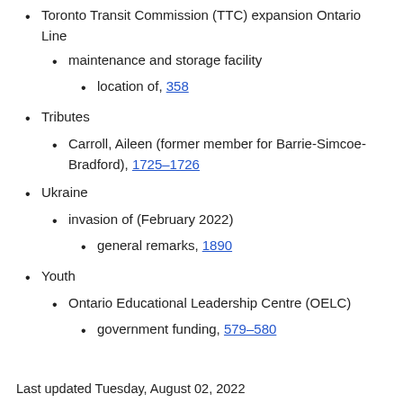Toronto Transit Commission (TTC) expansion Ontario Line
maintenance and storage facility
location of, 358
Tributes
Carroll, Aileen (former member for Barrie-Simcoe-Bradford), 1725–1726
Ukraine
invasion of (February 2022)
general remarks, 1890
Youth
Ontario Educational Leadership Centre (OELC)
government funding, 579–580
Last updated Tuesday, August 02, 2022